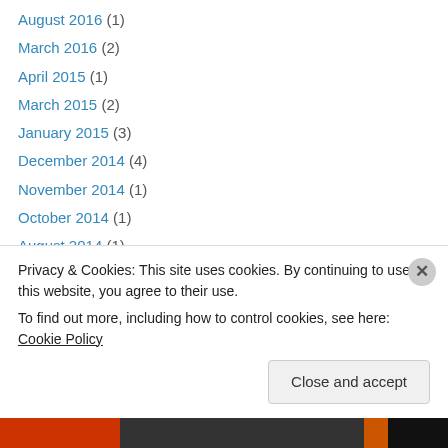August 2016 (1)
March 2016 (2)
April 2015 (1)
March 2015 (2)
January 2015 (3)
December 2014 (4)
November 2014 (1)
October 2014 (1)
August 2014 (1)
May 2014 (1)
April 2014 (1)
March 2014 (2)
October 2013 (2)
July 2013 (1)
Privacy & Cookies: This site uses cookies. By continuing to use this website, you agree to their use. To find out more, including how to control cookies, see here: Cookie Policy